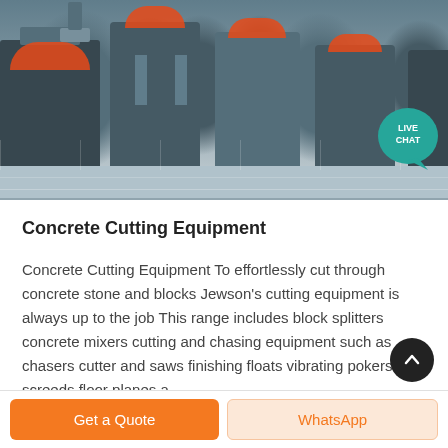[Figure (photo): Industrial concrete cutting and processing machinery equipment arranged in a factory/yard setting, showing multiple large grey machines with orange accents. A 'LIVE CHAT' speech bubble button is overlaid in the top right corner.]
Concrete Cutting Equipment
Concrete Cutting Equipment To effortlessly cut through concrete stone and blocks Jewson's cutting equipment is always up to the job This range includes block splitters concrete mixers cutting and chasing equipment such as chasers cutter and saws finishing floats vibrating pokers and screeds floor planes a